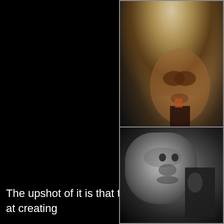[Figure (photo): Close-up portrait of an elderly person with wild white/grey hair against a dark background, color photograph]
© jmse
The upshot of it is that throughout a career of sixty-five ye at creating
[Figure (photo): Close-up black and white portrait of a person's face, cropped tightly showing nose and eyes]